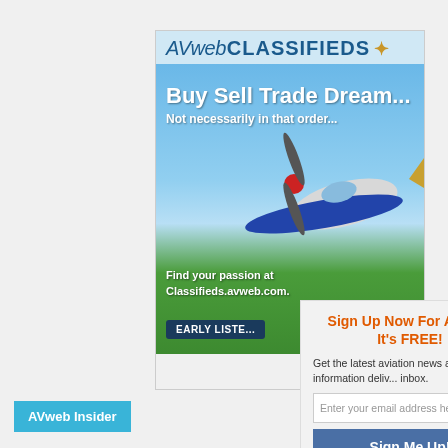[Figure (illustration): AVweb Classifieds advertisement banner featuring a small aircraft (propeller plane) in front of a blue sky with green grass, with text 'Buy Sell Trade Dream... Not necessarily in that order...' and 'Find your passion at Classifieds.avweb.com.' and an 'EARLY LISTING' button]
Sign Up Now For AVwe... It's FREE!
Get the latest aviation news and information deliv... inbox.
Enter your email address here
Sign Me Up!
AVweb Insider